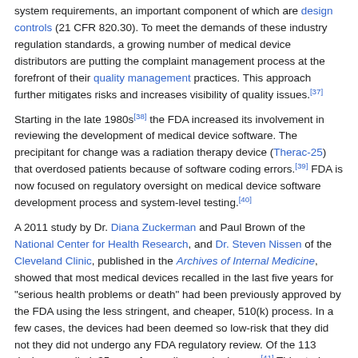system requirements, an important component of which are design controls (21 CFR 820.30). To meet the demands of these industry regulation standards, a growing number of medical device distributors are putting the complaint management process at the forefront of their quality management practices. This approach further mitigates risks and increases visibility of quality issues.[37]
Starting in the late 1980s[38] the FDA increased its involvement in reviewing the development of medical device software. The precipitant for change was a radiation therapy device (Therac-25) that overdosed patients because of software coding errors.[39] FDA is now focused on regulatory oversight on medical device software development process and system-level testing.[40]
A 2011 study by Dr. Diana Zuckerman and Paul Brown of the National Center for Health Research, and Dr. Steven Nissen of the Cleveland Clinic, published in the Archives of Internal Medicine, showed that most medical devices recalled in the last five years for "serious health problems or death" had been previously approved by the FDA using the less stringent, and cheaper, 510(k) process. In a few cases, the devices had been deemed so low-risk that they did not they did not undergo any FDA regulatory review. Of the 113 devices recalled, 35 were for cardiovascular issues.[41] This study was the topic of Congressional hearings re-evaluating FDA procedures and oversight.